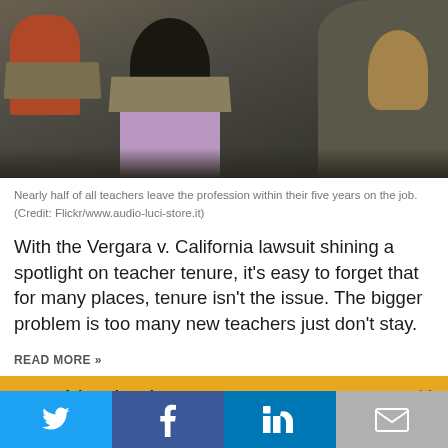[Figure (photo): Classroom scene viewed from behind, showing students seated at desks. A child with dark hair in a pink/purple top is visible in the center, with other students and classroom furniture around them.]
Nearly half of all teachers leave the profession within their five years on the job. (Credit: Flickr/www.audio-luci-store.it)
With the Vergara v. California lawsuit shining a spotlight on teacher tenure, it's easy to forget that for many places, tenure isn't the issue. The bigger problem is too many new teachers just don't stay.
READ MORE »
State of the Education Beat 2021
A Critical Profession at a Time of Crisis